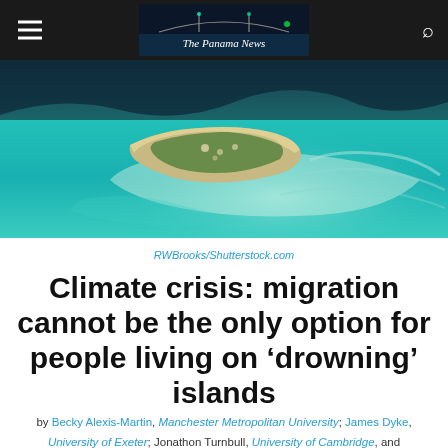The Panama News
[Figure (photo): Aerial view of a small tropical island surrounded by turquoise water]
RWBrooks/Shutterstock.com
Climate crisis: migration cannot be the only option for people living on ‘drowning’ islands
by Becky Alexis-Martin, Manchester Metropolitan University; James Dyke, University of Exeter; Jonathon Turnbull, University of Cambridge, and